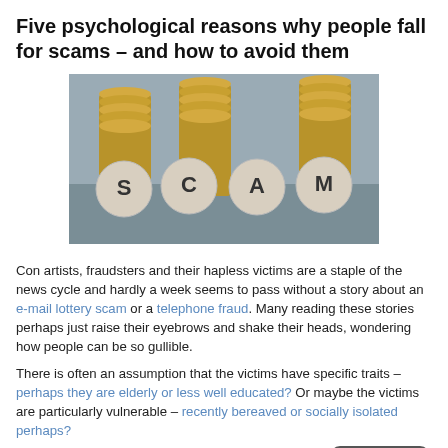Five psychological reasons why people fall for scams – and how to avoid them
[Figure (photo): Photo of stacked gold coins with circular tiles spelling out S C A M in the foreground]
Con artists, fraudsters and their hapless victims are a staple of the news cycle and hardly a week seems to pass without a story about an e-mail lottery scam or a telephone fraud. Many reading these stories perhaps just raise their eyebrows and shake their heads, wondering how people can be so gullible.
There is often an assumption that the victims have specific traits – perhaps they are elderly or less well educated? Or maybe the victims are particularly vulnerable – recently bereaved or socially isolated perhaps?
Figures do suggest that one in five [people] say that they have been targeted by email scammers. But it is also likely that [no one] is immune to fraud and sometimes people simply fall for scams due t[o the psychol]ogical techniques employed by fraudsters.